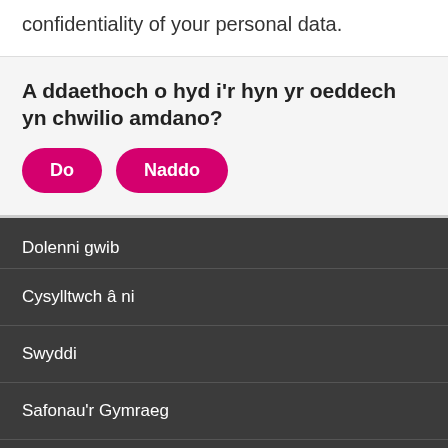confidentiality of your personal data.
A ddaethoch o hyd i'r hyn yr oeddech yn chwilio amdano?
Do
Naddo
Dolenni gwib
Cysylltwch â ni
Swyddi
Safonau'r Gymraeg
Cydraddoldeb